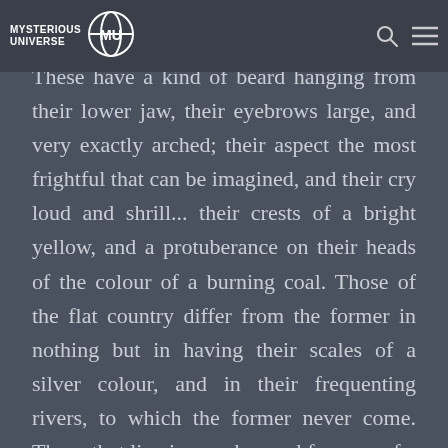MYSTERIOUS UNIVERSE [logo]
These have a kind of beard hanging from their lower jaw, their eyebrows large, and very exactly arched; their aspect the most frightful that can be imagined, and their cry loud and shrill... their crests of a bright yellow, and a protuberance on their heads of the colour of a burning coal. Those of the flat country differ from the former in nothing but in having their scales of a silver colour, and in their frequenting rivers, to which the former never come. Those that live in marshes and fens are of a dark colour, approaching to a black, move slowly, have no crest, or any rising upon their heads.